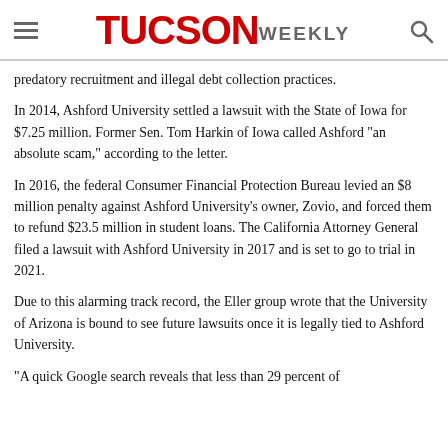TUCSON WEEKLY
predatory recruitment and illegal debt collection practices.
In 2014, Ashford University settled a lawsuit with the State of Iowa for $7.25 million. Former Sen. Tom Harkin of Iowa called Ashford "an absolute scam," according to the letter.
In 2016, the federal Consumer Financial Protection Bureau levied an $8 million penalty against Ashford University's owner, Zovio, and forced them to refund $23.5 million in student loans. The California Attorney General filed a lawsuit with Ashford University in 2017 and is set to go to trial in 2021.
Due to this alarming track record, the Eller group wrote that the University of Arizona is bound to see future lawsuits once it is legally tied to Ashford University.
"A quick Google search reveals that less than 29 percent of